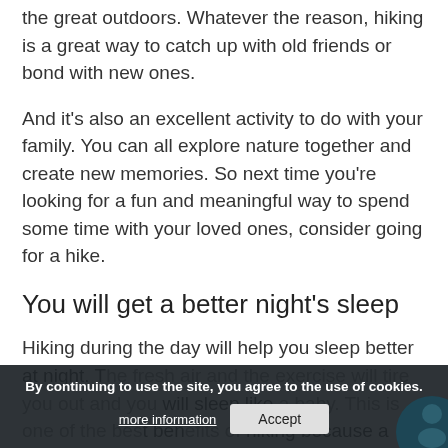the great outdoors. Whatever the reason, hiking is a great way to catch up with old friends or bond with new ones.
And it's also an excellent activity to do with your family. You can all explore nature together and create new memories. So next time you're looking for a fun and meaningful way to spend some time with your loved ones, consider going for a hike.
You will get a better night's sleep
Hiking during the day will help you sleep better at night. The fresh air and the exercise will tire you out and you will sleep like a baby. This is one of the best benefits of hiking because a good night's sleep is essential for our health.
By continuing to use the site, you agree to the use of cookies.